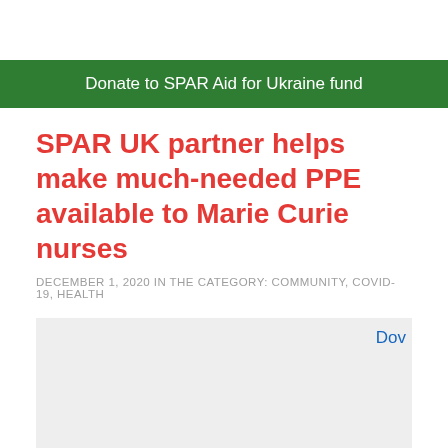Donate to SPAR Aid for Ukraine fund
SPAR UK partner helps make much-needed PPE available to Marie Curie nurses
DECEMBER 1, 2020 IN THE CATEGORY: COMMUNITY, COVID-19, HEALTH
[Figure (photo): Gray placeholder image area with blue partial text 'Dow' visible at top right corner]